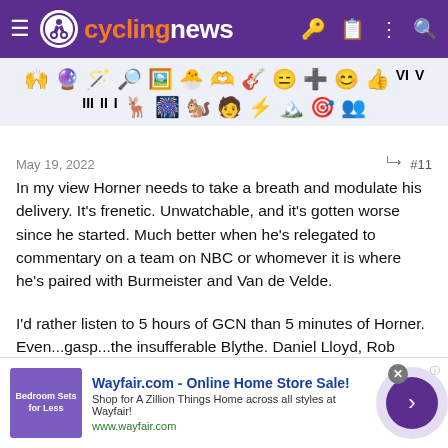cyclingnews
[Figure (other): Row of emoji/icon reactions for forum post]
May 19, 2022   #11
In my view Horner needs to take a breath and modulate his delivery. It's frenetic. Unwatchable, and it's gotten worse since he started. Much better when he's relegated to commentary on a team on NBC or whomever it is where he's paired with Burmeister and Van de Velde.
I'd rather listen to 5 hours of GCN than 5 minutes of Horner. Even...gasp...the insufferable Blythe. Daniel Lloyd, Rob Hatch, Jose Been, Kelley, Backstedt, McEwen are all fantastic. I'm really grateful for GCN. Very impressed. And Orla Chennaoui does a nice job as
[Figure (other): Wayfair.com advertisement banner - Online Home Store Sale]